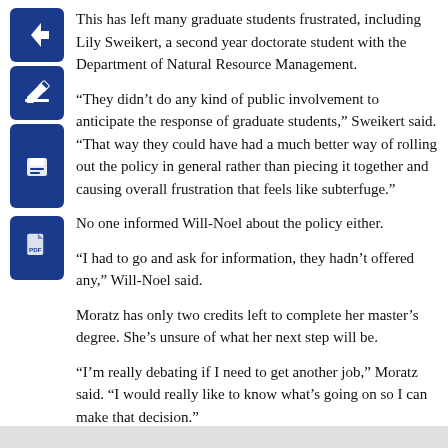This has left many graduate students frustrated, including Lily Sweikert, a second year doctorate student with the Department of Natural Resource Management.
“They didn’t do any kind of public involvement to anticipate the response of graduate students,” Sweikert said. “That way they could have had a much better way of rolling out the policy in general rather than piecing it together and causing overall frustration that feels like subterfuge.”
No one informed Will-Noel about the policy either.
“I had to go and ask for information, they hadn’t offered any,” Will-Noel said.
Moratz has only two credits left to complete her master’s degree. She’s unsure of what her next step will be.
“I’m really debating if I need to get another job,” Moratz said. “I would really like to know what’s going on so I can make that decision.”